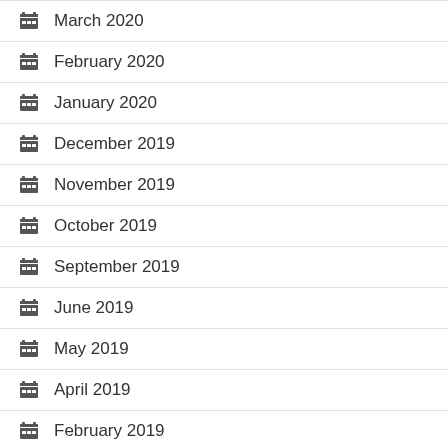March 2020
February 2020
January 2020
December 2019
November 2019
October 2019
September 2019
June 2019
May 2019
April 2019
February 2019
October 2018